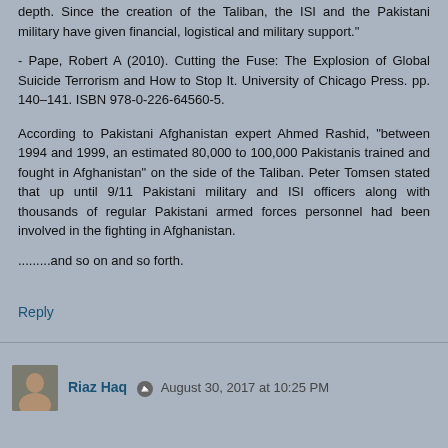depth. Since the creation of the Taliban, the ISI and the Pakistani military have given financial, logistical and military support."
- Pape, Robert A (2010). Cutting the Fuse: The Explosion of Global Suicide Terrorism and How to Stop It. University of Chicago Press. pp. 140–141. ISBN 978-0-226-64560-5.
According to Pakistani Afghanistan expert Ahmed Rashid, "between 1994 and 1999, an estimated 80,000 to 100,000 Pakistanis trained and fought in Afghanistan" on the side of the Taliban. Peter Tomsen stated that up until 9/11 Pakistani military and ISI officers along with thousands of regular Pakistani armed forces personnel had been involved in the fighting in Afghanistan.
.........and so on and so forth.
Reply
Riaz Haq  August 30, 2017 at 10:25 PM